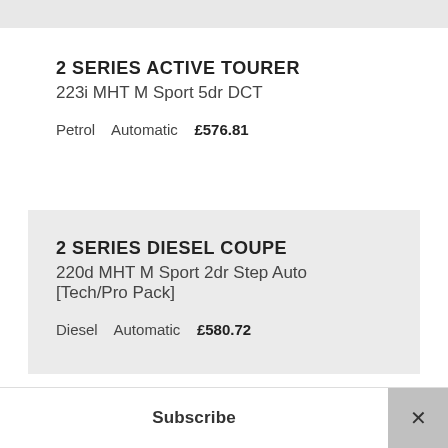2 SERIES ACTIVE TOURER
223i MHT M Sport 5dr DCT
Petrol   Automatic   £576.81
2 SERIES DIESEL COUPE
220d MHT M Sport 2dr Step Auto [Tech/Pro Pack]
Diesel   Automatic   £580.72
Subscribe  ×